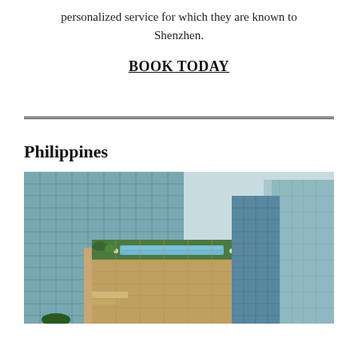personalized service for which they are known to Shenzhen.
BOOK TODAY
Philippines
[Figure (photo): Aerial view of a modern glass-facade hotel building with a rooftop pool and green landscaping, surrounded by other tall buildings.]